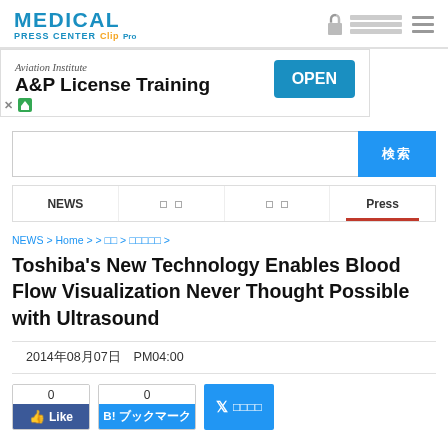MEDICAL PRESS CENTER CuePro
[Figure (other): Advertisement banner: Aviation Institute A&P License Training with OPEN button]
検索 (search box with search button)
NEWS | □ □ | □ □ | Press (navigation tabs)
NEWS > Home >  > □□ > □□□□□ >
Toshiba's New Technology Enables Blood Flow Visualization Never Thought Possible with Ultrasound
2014年08月07日　PM04:00
0 Like  0 B!ブックマーク  ツイート (social share buttons)